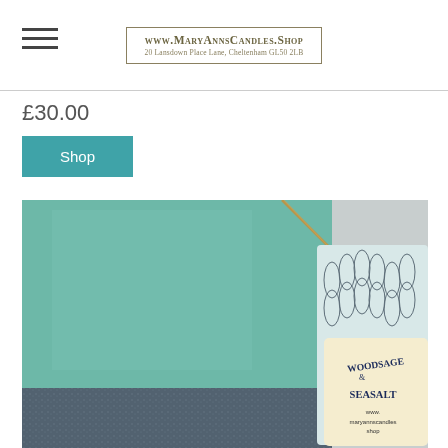www.MaryAnnsCandles.Shop — 20 Lansdown Place Lane, Cheltenham GL50 2LB
£30.00
Shop
[Figure (photo): Close-up photo of a teal/green wax candle block with a decorative botanical patterned label tag tied with twine. The tag reads 'Woodsage & Seasalt' and 'www.maryannscandles.shop']